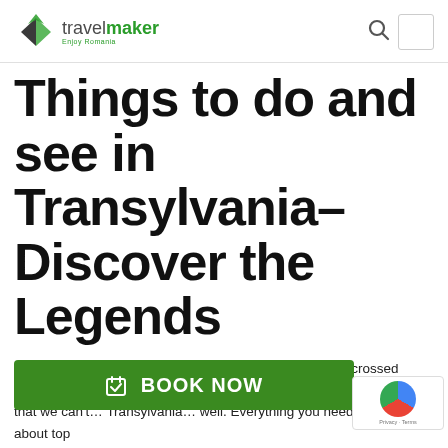travelmaker Enjoy Romania [logo]
Things to do and see in Transylvania– Discover the Legends
Transylvania, a land of legends and mysteries that have crossed borders, drawing people into knowing more. Our journey today is one that we can't… Transylvania… well. Everything you need to know about top